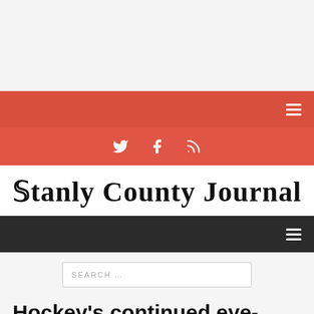Stanly County Journal
Hockey's continued eye-for-an-